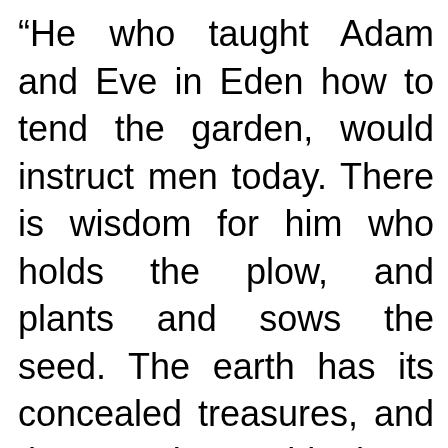“He who taught Adam and Eve in Eden how to tend the garden, would instruct men today. There is wisdom for him who holds the plow, and plants and sows the seed. The earth has its concealed treasures, and the Lord would have thousands and tens of thousands working upon the soil who are crowded into the cities to watch for a chance to earn a trifle.